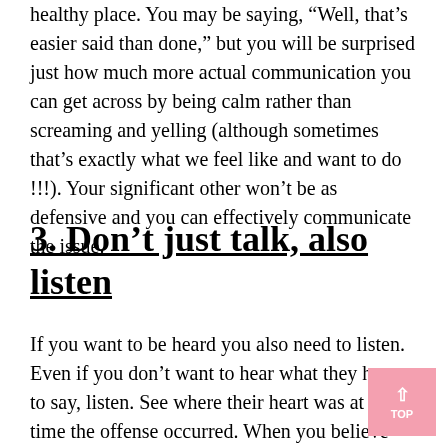healthy place. You may be saying, “Well, that’s easier said than done,” but you will be surprised just how much more actual communication you can get across by being calm rather than screaming and yelling (although sometimes that’s exactly what we feel like and want to do !!!). Your significant other won’t be as defensive and you can effectively communicate the issue.
3. Don’t just talk, also listen
If you want to be heard you also need to listen. Even if you don’t want to hear what they have to say, listen. See where their heart was at the time the offense occurred. When you believe there is a problem with something, your significant other might perceive it as